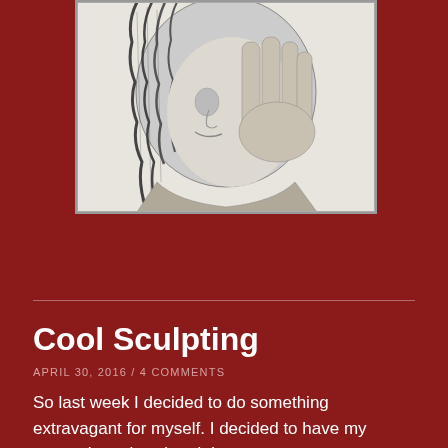[Figure (illustration): Black and white engraving or detailed pen illustration of a person with braided or curly hair covering part of their face with one hand, rendered in a classical style]
Cool Sculpting
APRIL 30, 2016 / 4 COMMENTS
So last week I decided to do something extravagant for myself. I decided to have my stomach cool sculpted. In